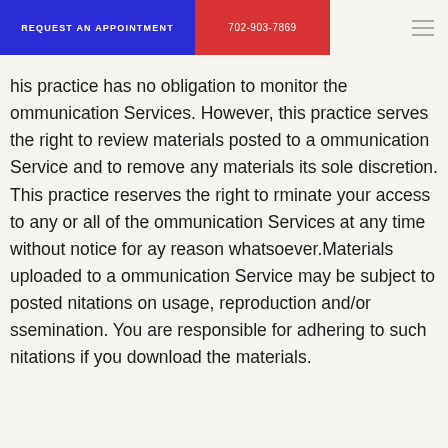REQUEST AN APPOINTMENT | 702-903-7869
his practice has no obligation to monitor the ommunication Services. However, this practice serves the right to review materials posted to a ommunication Service and to remove any materials its sole discretion. This practice reserves the right to rminate your access to any or all of the ommunication Services at any time without notice for ay reason whatsoever.Materials uploaded to a ommunication Service may be subject to posted nitations on usage, reproduction and/or ssemination. You are responsible for adhering to such nitations if you download the materials.